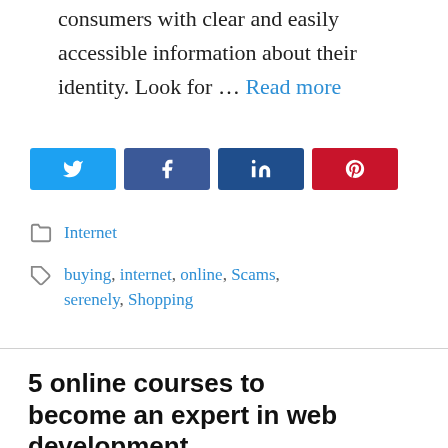consumers with clear and easily accessible information about their identity. Look for … Read more
[Figure (other): Social share buttons: Twitter (blue), Facebook (blue), LinkedIn (dark blue), Pinterest (red)]
Internet
buying, internet, online, Scams, serenely, Shopping
5 online courses to become an expert in web development